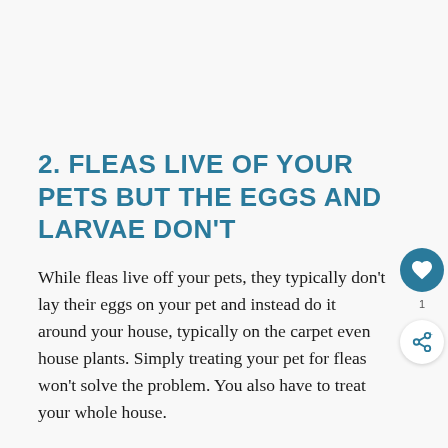2. FLEAS LIVE OF YOUR PETS BUT THE EGGS AND LARVAE DON'T
While fleas live off your pets, they typically don't lay their eggs on your pet and instead do it around your house, typically on the carpet even house plants. Simply treating your pet for fleas won't solve the problem. You also have to treat your whole house.